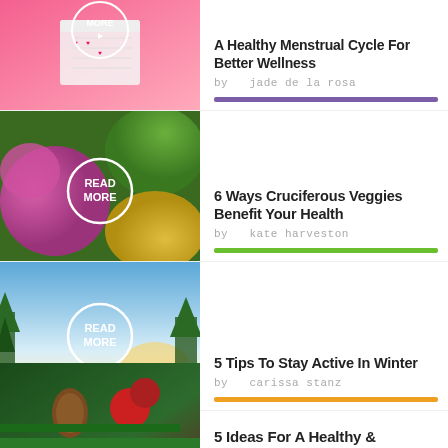[Figure (photo): Woman in straw hat holding a calendar on pink background, with READ MORE circle overlay]
A Healthy Menstrual Cycle For Better Wellness
by  jade de la rosa
[Figure (photo): Colorful cruciferous vegetables including pink, green, and yellow cauliflower, with READ MORE circle overlay]
6 Ways Cruciferous Veggies Benefit Your Health
by  kate harveston
[Figure (photo): Winter snowy landscape with a person skiing, warm golden sunset, with READ MORE circle overlay]
5 Tips To Stay Active In Winter
by  carissa stanz
[Figure (photo): Holiday themed image with pine cones, red apples, green branches, with READ circle overlay]
5 Ideas For A Healthy &